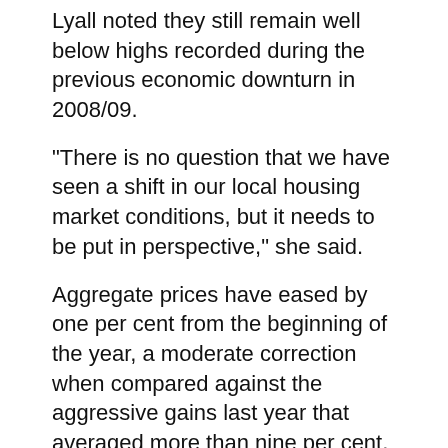Lyall noted they still remain well below highs recorded during the previous economic downturn in 2008/09.
“There is no question that we have seen a shift in our local housing market conditions, but it needs to be put in perspective,” she said.
Aggregate prices have eased by one per cent from the beginning of the year, a moderate correction when compared against the aggressive gains last year that averaged more than nine per cent, noted Lyall.
Click here to see full monthly stats package